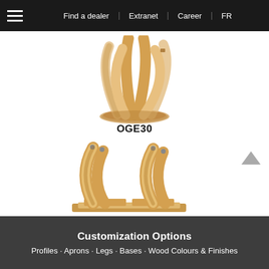Find a dealer | Extranet | Career | FR
[Figure (illustration): 3D render of a wooden table base with five curved arch legs arranged like a fan, all connected to an oval base. Model labeled OGE30.]
OGE30
[Figure (illustration): 3D render of a wooden table base with two curved arch legs side by side on a rectangular base, with small metal connectors at top.]
Customization Options
Profiles · Aprons · Legs · Bases · Wood Colours & Finishes